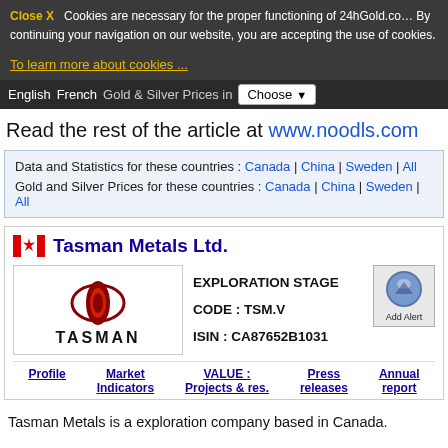Close X   Cookies are necessary for the proper functioning of 24hGold.com. By continuing your navigation on our website, you are accepting the use of cookies.
To learn more about cookies ...
English | French | Gold & Silver Prices in Choose
Read the rest of the article at www.noodls.com
Data and Statistics for these countries : Canada | China | Sweden | All
Gold and Silver Prices for these countries : Canada | China | Sweden | All
[Figure (logo): Tasman Metals Ltd. company logo with Canadian flag icon]
EXPLORATION STAGE
CODE : TSM.V
ISIN : CA87652B1031
Profile | Market Indicators | VALUE : Projects & res. | Press releases | Annual report
Tasman Metals is a exploration company based in Canada.
Tasman Metals holds various exploration projects in Sweden.